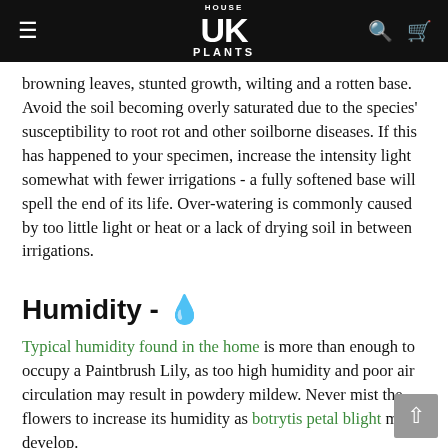HOUSE UK PLANTS
browning leaves, stunted growth, wilting and a rotten base. Avoid the soil becoming overly saturated due to the species' susceptibility to root rot and other soilborne diseases. If this has happened to your specimen, increase the intensity light somewhat with fewer irrigations - a fully softened base will spell the end of its life. Over-watering is commonly caused by too little light or heat or a lack of drying soil in between irrigations.
Humidity - 💧
Typical humidity found in the home is more than enough to occupy a Paintbrush Lily, as too high humidity and poor air circulation may result in powdery mildew. Never mist the flowers to increase its humidity as botrytis petal blight may develop.